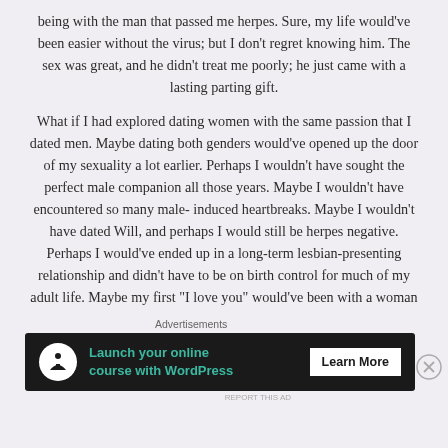being with the man that passed me herpes. Sure, my life would've been easier without the virus; but I don't regret knowing him. The sex was great, and he didn't treat me poorly; he just came with a lasting parting gift.
What if I had explored dating women with the same passion that I dated men. Maybe dating both genders would've opened up the door of my sexuality a lot earlier. Perhaps I wouldn't have sought the perfect male companion all those years. Maybe I wouldn't have encountered so many male-induced heartbreaks. Maybe I wouldn't have dated Will, and perhaps I would still be herpes negative. Perhaps I would've ended up in a long-term lesbian-presenting relationship and didn't have to be on birth control for much of my adult life. Maybe my first “I love you” would’ve been with a woman
Advertisements
[Figure (other): Advertisement banner with dark background showing 'Launch your online course with WordPress' with a tree/person icon and 'Learn More' button]